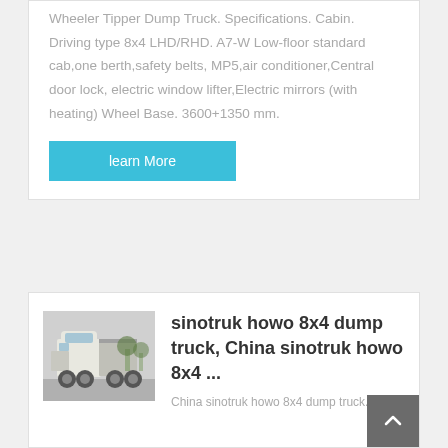Wheeler Tipper Dump Truck. Specifications. Cabin. Driving type 8x4 LHD/RHD. A7-W Low-floor standard cab,one berth,safety belts,MP5,air conditioner,Central door lock,electric window lifter,Electric mirrors (with heating) Wheel Base. 3600+1350 mm.
learn More
[Figure (photo): Photo of a white Sinotruk Howo 8x4 dump truck front-side view parked outdoors with trees in background]
sinotruk howo 8x4 dump truck, China sinotruk howo 8x4 ...
China sinotruk howo 8x4 dump truck...